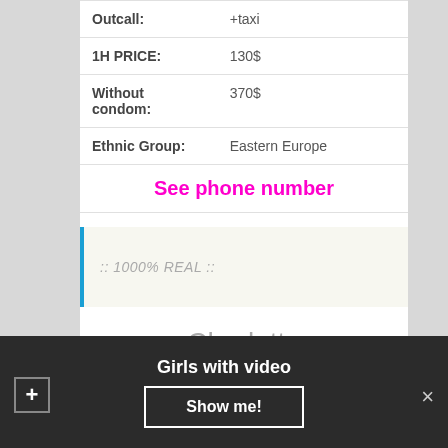| Field | Value |
| --- | --- |
| Outcall: | +taxi |
| 1H PRICE: | 130$ |
| Without condom: | 370$ |
| Ethnic Group: | Eastern Europe |
See phone number
:: 1000% REAL ::
Charlotte
Girls with video
Show me!